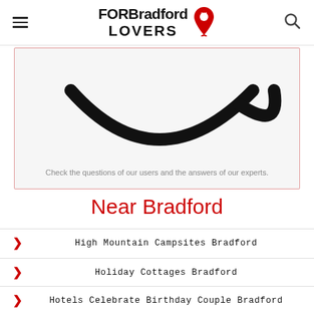FOR Bradford LOVERS
[Figure (illustration): Partial illustration showing black curved line art (bottom portion of a chat/question bubble icon) on a light grey background]
Check the questions of our users and the answers of our experts.
Near Bradford
High Mountain Campsites Bradford
Holiday Cottages Bradford
Hotels Celebrate Birthday Couple Bradford